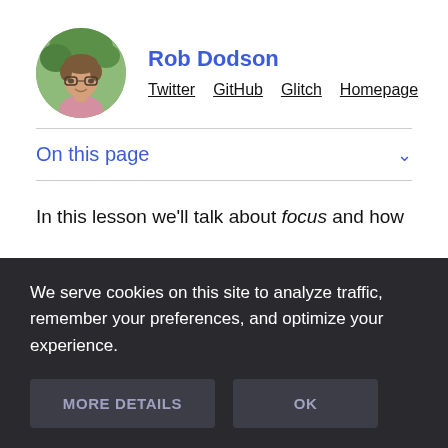[Figure (photo): Circular avatar photo of Rob Dodson, a man with glasses smiling]
Rob Dodson
Twitter  GitHub  Glitch  Homepage
On this page
In this lesson we'll talk about focus and how
We serve cookies on this site to analyze traffic, remember your preferences, and optimize your experience.
MORE DETAILS
OK